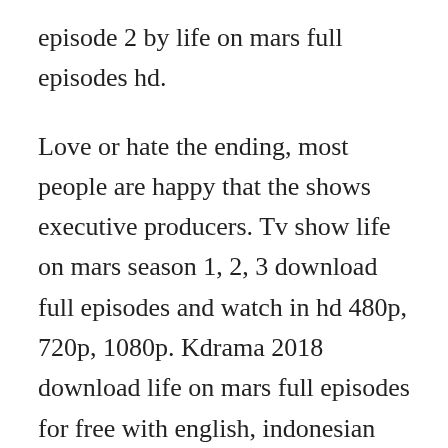episode 2 by life on mars full episodes hd.
Love or hate the ending, most people are happy that the shows executive producers. Tv show life on mars season 1, 2, 3 download full episodes and watch in hd 480p, 720p, 1080p. Kdrama 2018 download life on mars full episodes for free with english, indonesian subtitle 720p 540p raw webrip. The fictional documentary series are depicting the first human mission to mars, the subsequent building of the first human base on mars in a lava tube and the further steps for colonization